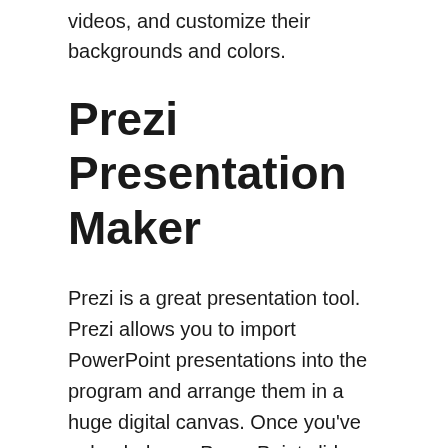videos, and customize their backgrounds and colors.
Prezi Presentation Maker
Prezi is a great presentation tool. Prezi allows you to import PowerPoint presentations into the program and arrange them in a huge digital canvas. Once you've uploaded your PowerPoint slides, you can import them into Prezi to get started. What makes Prezi different from other presentation tools? Here are a few things you should know before choosing the Prezi Presentation Maker.
First and foremost, Prezi is a presentation